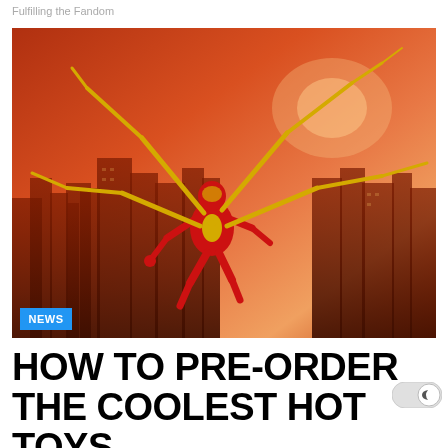Fulfilling the Fandom
[Figure (photo): Iron Spider-Man action figure in red and gold armor with mechanical spider legs, posed dynamically against an orange-red sunset city skyline background. A blue 'NEWS' badge appears in the bottom left corner of the image.]
HOW TO PRE-ORDER THE COOLEST HOT TOYS